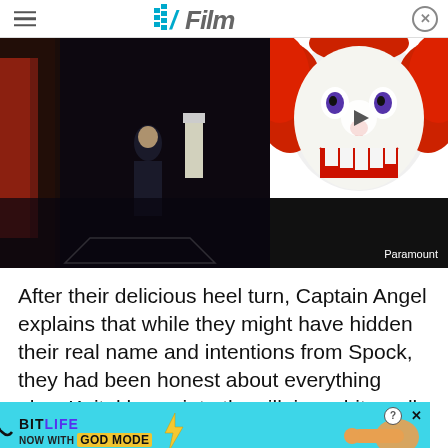/Film
[Figure (screenshot): Video player showing two frames: left side shows a person standing in a sci-fi interior scene, right side shows a scary clown with white face paint and red hair with a play button overlay. Caption reads 'Paramount'.]
After their delicious heel turn, Captain Angel explains that while they might have hidden their real name and intentions from Spock, they had been honest about everything else. Keitel leans into the villainy a bit, really vamping it up and enjoying telling the logical Spock that there is so much more to life if he wou[ld stop focussing on analys]ing the uni[verse and live like a hum]an
[Figure (screenshot): BitLife advertisement banner with cyan background, BitLife logo, 'NOW WITH GOD MODE' text, and hand/finger pointing graphic with close buttons.]